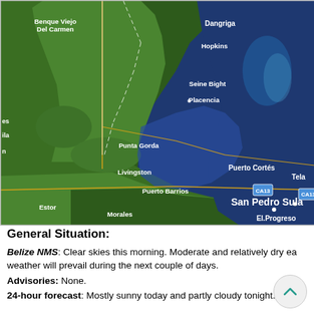[Figure (map): Satellite/terrain map of Belize, Guatemala, and Honduras region showing cities: Benque Viejo Del Carmen, Dangriga, Hopkins, Seine Bight, Placencia, Punta Gorda, Livingston, Puerto Barrios, Estor, Morales, Puerto Cortés, Tela, San Pedro Sula, El Progreso. Roads CA13 marked. Map shows Caribbean Sea coastline and terrain in satellite imagery style with road overlays.]
General Situation:
Belize NMS: Clear skies this morning. Moderate and relatively dry ea weather will prevail during the next couple of days.
Advisories: None.
24-hour forecast: Mostly sunny today and partly cloudy tonight. Sho